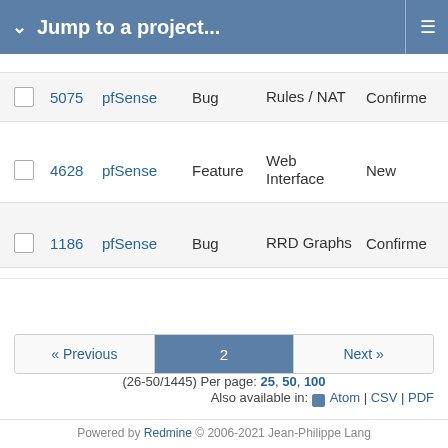Jump to a project...
|  | # | Project | Tracker | Category | Status |
| --- | --- | --- | --- | --- | --- |
|  | 5075 | pfSense | Bug | Rules / NAT | Confirmed |
|  | 4628 | pfSense | Feature | Web Interface | New |
|  | 1186 | pfSense | Bug | RRD Graphs | Confirmed |
« Previous   2   Next »
(26-50/1445) Per page: 25, 50, 100
Also available in: Atom | CSV | PDF
Powered by Redmine © 2006-2021 Jean-Philippe Lang